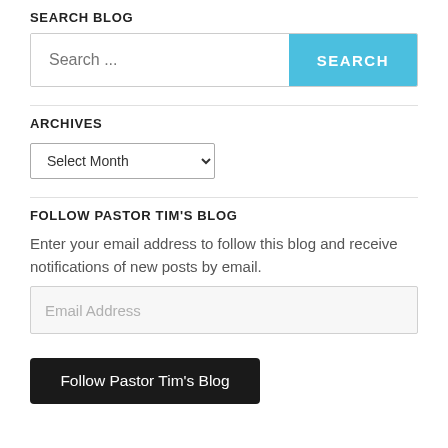SEARCH BLOG
[Figure (other): Search input field with 'Search ...' placeholder and a cyan 'SEARCH' button]
ARCHIVES
[Figure (other): Dropdown select menu labeled 'Select Month']
FOLLOW PASTOR TIM'S BLOG
Enter your email address to follow this blog and receive notifications of new posts by email.
[Figure (other): Email address input field with placeholder 'Email Address']
[Figure (other): Dark button labeled 'Follow Pastor Tim's Blog']